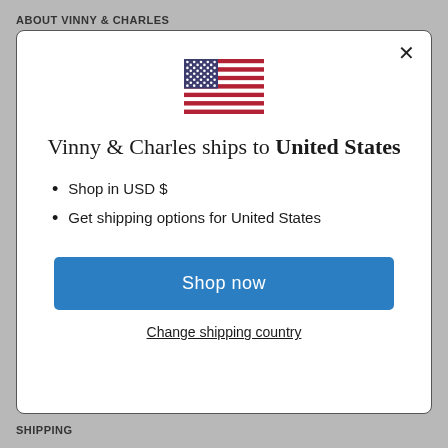ABOUT VINNY & CHARLES
[Figure (illustration): US flag emoji/illustration centered in modal dialog]
Vinny & Charles ships to United States
Shop in USD $
Get shipping options for United States
Shop now
Change shipping country
SHIPPING